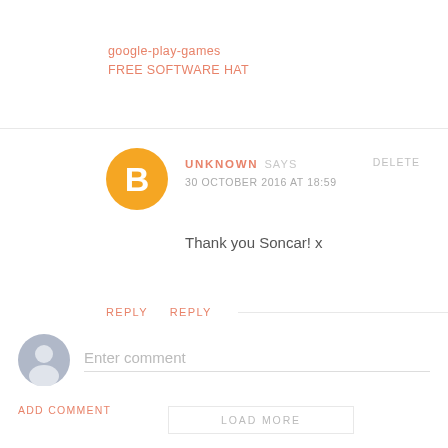google-play-games
FREE SOFTWARE HAT
UNKNOWN SAYS
30 OCTOBER 2016 AT 18:59
DELETE
Thank you Soncar! x
REPLY   REPLY
Enter comment
ADD COMMENT
LOAD MORE